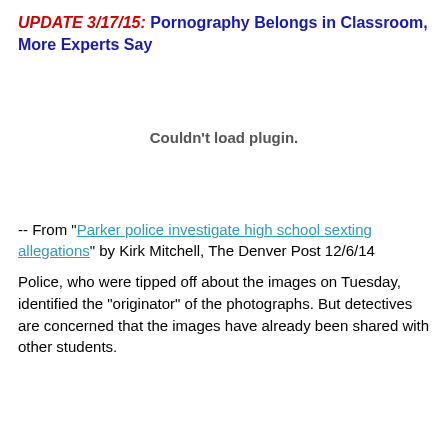UPDATE 3/17/15: Pornography Belongs in Classroom, More Experts Say
[Figure (other): Embedded plugin area that failed to load, showing 'Couldn't load plugin.' message]
-- From "Parker police investigate high school sexting allegations" by Kirk Mitchell, The Denver Post 12/6/14
Police, who were tipped off about the images on Tuesday, identified the "originator" of the photographs. But detectives are concerned that the images have already been shared with other students.